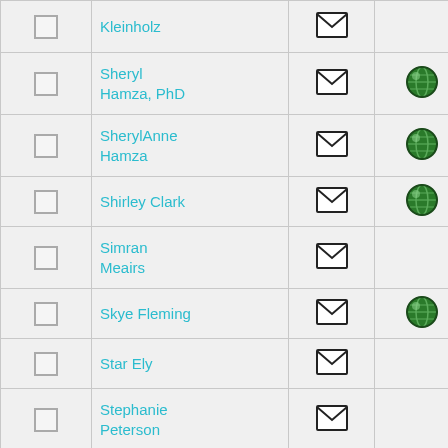|  | Name | Email | Web |
| --- | --- | --- | --- |
| ☐ | Kleinholz | ✉ |  |
| ☐ | Sheryl Hamza, PhD | ✉ | 🌐 |
| ☐ | SherylAnne Hamza | ✉ | 🌐 |
| ☐ | Shirley Clark | ✉ | 🌐 |
| ☐ | Simran Meairs | ✉ |  |
| ☐ | Skye Fleming | ✉ | 🌐 |
| ☐ | Star Ely | ✉ |  |
| ☐ | Stephanie Peterson | ✉ |  |
| ☐ | Stephen R. Foster, Ph.D., D.D. | ✉ | 🌐 |
| ☐ | Steve Godias | ✉ | 🌐 |